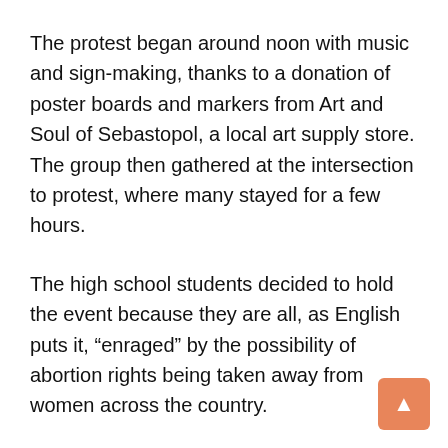The protest began around noon with music and sign-making, thanks to a donation of poster boards and markers from Art and Soul of Sebastopol, a local art supply store. The group then gathered at the intersection to protest, where many stayed for a few hours.
The high school students decided to hold the event because they are all, as English puts it, “enraged” by the possibility of abortion rights being taken away from women across the country.
They stressed the need for more young people their age to join the protests and use their voices, as well as calling on older people to join